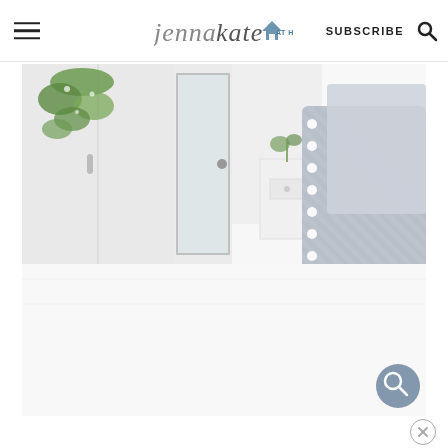jenna kate at home — SUBSCRIBE
[Figure (photo): Bright white bedroom interior with white bedding and grey textured pillows with pompom trim on the right side, a glass-panel door in the center background, hanging green plant in the upper left, and a small white nightstand with a plant on the right side.]